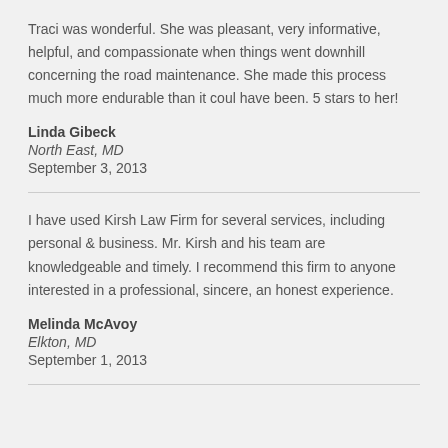Traci was wonderful. She was pleasant, very informative, helpful, and compassionate when things went downhill concerning the road maintenance. She made this process much more endurable than it could have been. 5 stars to her!
Linda Gibeck
North East, MD
September 3, 2013
I have used Kirsh Law Firm for several services, including personal & business. Mr. Kirsh and his team are knowledgeable and timely. I recommend this firm to anyone interested in a professional, sincere, and honest experience.
Melinda McAvoy
Elkton, MD
September 1, 2013